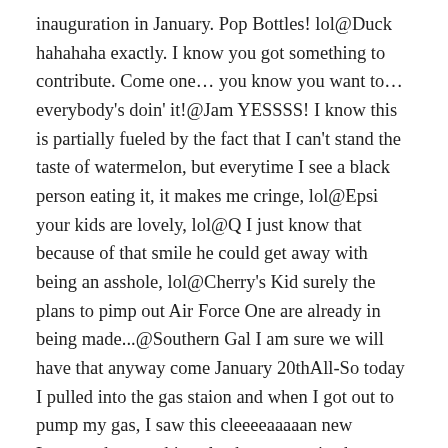inauguration in January. Pop Bottles! lol@Duck hahahaha exactly. I know you got something to contribute. Come one… you know you want to… everybody's doin' it!@Jam YESSSS! I know this is partially fueled by the fact that I can't stand the taste of watermelon, but everytime I see a black person eating it, it makes me cringe, lol@Epsi your kids are lovely, lol@Q I just know that because of that smile he could get away with being an asshole, lol@Cherry's Kid surely the plans to pimp out Air Force One are already in being made...@Southern Gal I am sure we will have that anyway come January 20thAll-So today I pulled into the gas staion and when I got out to pump my gas, I saw this cleeeeaaaaan new Lexus… hyper whites, leather seats, nice but not gaudy rims, beautiful cranberry paint… marred by a McCain/Palin bumper sticker stuck to the back right underneath the dealer tags. I tried to contain myself, I really did, tried to think about what